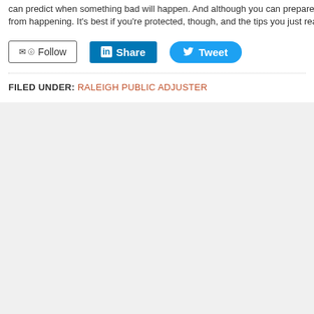can predict when something bad will happen. And although you can prepare for the from happening. It's best if you're protected, though, and the tips you just read, car
[Figure (other): Social media buttons: Follow (email/RSS), Share (LinkedIn), Tweet (Twitter)]
FILED UNDER: RALEIGH PUBLIC ADJUSTER